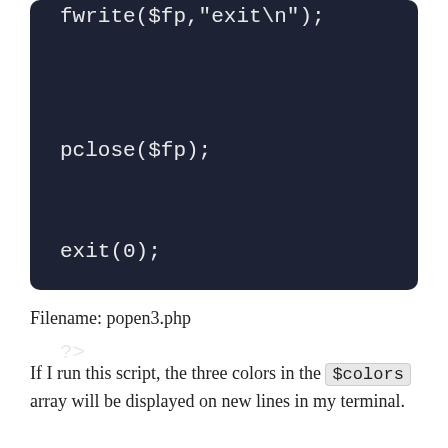[Figure (screenshot): Dark-themed code block showing PHP code: fwrite($fp,"exit\n"); pclose($fp); exit(0); ?>]
Filename: popen3.php
If I run this script, the three colors in the $colors array will be displayed on new lines in my terminal.